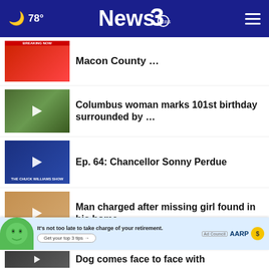78° News 3
Macon County ...
Columbus woman marks 101st birthday surrounded by ...
Ep. 64: Chancellor Sonny Perdue
Man charged after missing girl found in his home
Column collapses at Lewis & Clark, 1 dead, 2 hurt
Migrant crisis will worsen,
Dog comes face to face with
[Figure (screenshot): AARP advertisement banner: It's not too late to take charge of your retirement. Get your top 3 tips.]